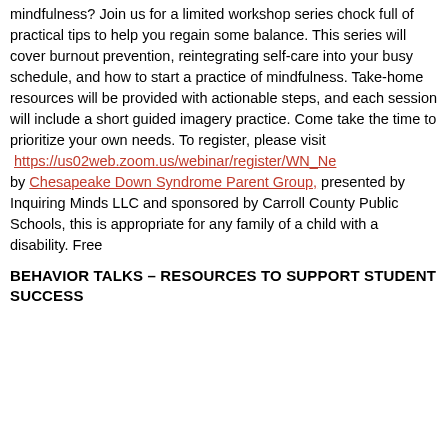mindfulness? Join us for a limited workshop series chock full of practical tips to help you regain some balance. This series will cover burnout prevention, reintegrating self-care into your busy schedule, and how to start a practice of mindfulness. Take-home resources will be provided with actionable steps, and each session will include a short guided imagery practice. Come take the time to prioritize your own needs. To register, please visit https://us02web.zoom.us/webinar/register/WN_Ne by Chesapeake Down Syndrome Parent Group, presented by Inquiring Minds LLC and sponsored by Carroll County Public Schools, this is appropriate for any family of a child with a disability. Free
BEHAVIOR TALKS – RESOURCES TO SUPPORT STUDENT SUCCESS